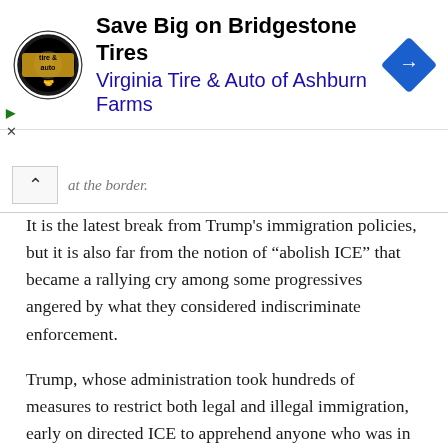[Figure (other): Advertisement banner for Virginia Tire & Auto of Ashburn Farms featuring Bridgestone Tires, with a circular tire/auto logo on the left and a blue diamond-shaped arrow icon on the right.]
at the border.
It is the latest break from Trump's immigration policies, but it is also far from the notion of “abolish ICE” that became a rallying cry among some progressives angered by what they considered indiscriminate enforcement.
Trump, whose administration took hundreds of measures to restrict both legal and illegal immigration, early on directed ICE to apprehend anyone who was in the country illegally. In June 2019, he tweeted that “next week ICE will begin the process of removing the millions of illegal aliens who have illicitly found their way into the United States.”
That never happened. Total deportations were higher under the first term of President Barack Obama, who also made